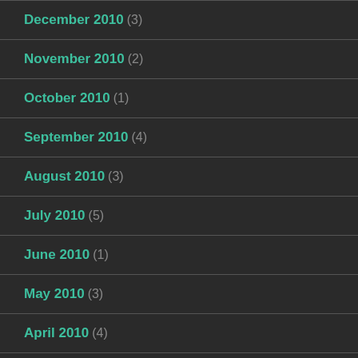December 2010 (3)
November 2010 (2)
October 2010 (1)
September 2010 (4)
August 2010 (3)
July 2010 (5)
June 2010 (1)
May 2010 (3)
April 2010 (4)
March 2010 (4)
February 2010 (5)